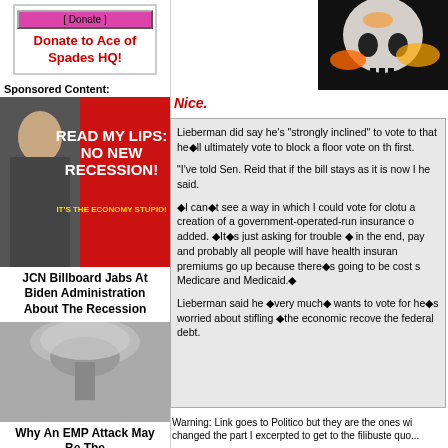Donate to Ace of Spades HQ!
Sponsored Content:
[Figure (photo): Advertisement showing Biden with text READ MY LIPS: NO NEW RECESSION! IT'S THE ECONOMY STUPID!]
JCN Billboard Jabs At Biden Administration About The Recession
[Figure (photo): Mushroom cloud from nuclear explosion]
Why An EMP Attack May Be The Greatest Threat
[Figure (photo): Burning skull image]
Nice.
Lieberman did say he's "strongly inclined" to vote to... that he'll ultimately vote to block a floor vote on th... first.

"I've told Sen. Reid that if the bill stays as it is now I... he said.

♦I can♦t see a way in which I could vote for clotu... a creation of a government-operated-run insurance o... added. ♦It♦s just asking for trouble ♦ in the end, ... pay and probably all people will have health insuran... premiums go up because there♦s going to be cost s... Medicare and Medicaid.♦

Lieberman said he ♦very much♦ wants to vote for... he♦s worried about stifling ♦the economic recove... the federal debt.
Warning: Link goes to Politico but they are the ones wi... changed the part I excerpted to get to the filibuste quot...